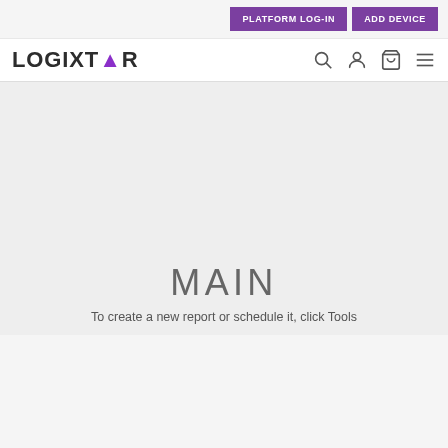PLATFORM LOG-IN  ADD DEVICE
[Figure (logo): LOGIXTAR logo with purple triangle arrow replacing the A in LOGIXTAR, followed by navigation icons: search, account, cart, hamburger menu]
MAIN
To create a new report or schedule it, click Tools